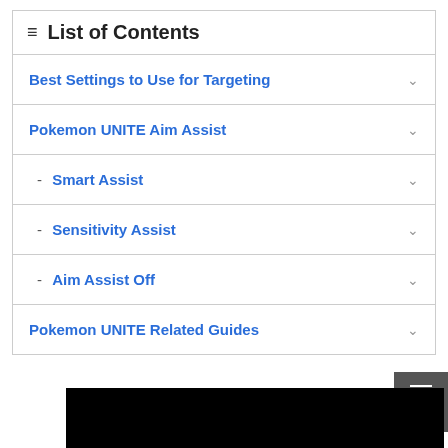List of Contents
Best Settings to Use for Targeting
Pokemon UNITE Aim Assist
Smart Assist
Sensitivity Assist
Aim Assist Off
Pokemon UNITE Related Guides
[Figure (screenshot): Black rectangle representing a video or image embed area]